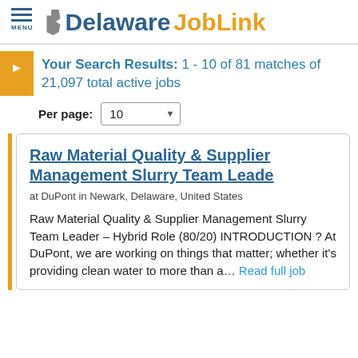Delaware JobLink
Your Search Results: 1 - 10 of 81 matches of 21,097 total active jobs
Per page: 10
Raw Material Quality & Supplier Management Slurry Team Leade
at DuPont in Newark, Delaware, United States
Raw Material Quality & Supplier Management Slurry Team Leader – Hybrid Role (80/20) INTRODUCTION ? At DuPont, we are working on things that matter; whether it's providing clean water to more than a... Read full job